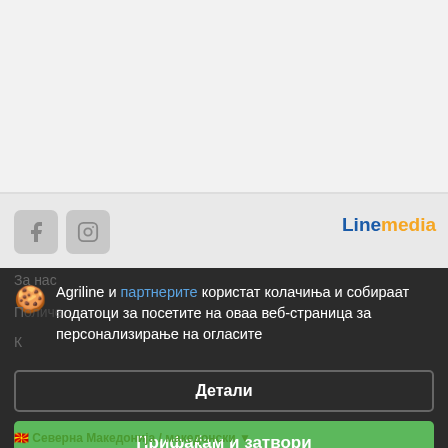[Figure (screenshot): Website background with light grey header area, social media icon buttons (Facebook, Instagram) and Linemedia logo]
Agriline и партнерите користат колачиња и собираат податоци за посетите на оваа веб-страница за персонализирање на огласите
Детали
Прифаќам и затвори
Северна Македонија / македонски